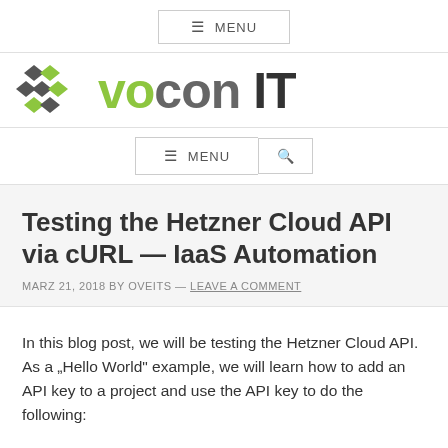MENU
[Figure (logo): Vocon IT logo with diamond/rhombus pattern in dark gray and green, followed by 'vocon IT' text in green and dark gray]
MENU
Testing the Hetzner Cloud API via cURL — IaaS Automation
MARZ 21, 2018 BY OVEITS — LEAVE A COMMENT
In this blog post, we will be testing the Hetzner Cloud API. As a „Hello World" example, we will learn how to add an API key to a project and use the API key to do the following: